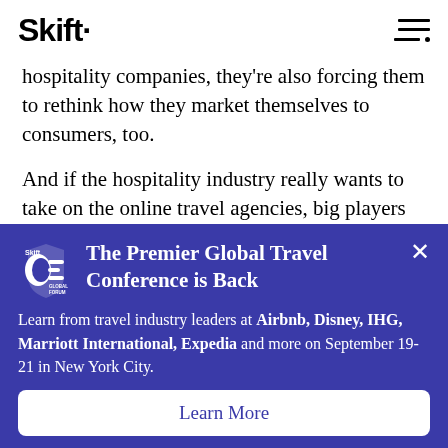Skift
hospitality companies, they're also forcing them to rethink how they market themselves to consumers, too.
And if the hospitality industry really wants to take on the online travel agencies, big players need to think more like them — which they have
[Figure (infographic): Skift Global Forum ad banner with blue background. Title: 'The Premier Global Travel Conference is Back'. Body text: 'Learn from travel industry leaders at Airbnb, Disney, IHG, Marriott International, Expedia and more on September 19-21 in New York City.' with a 'Learn More' button.]